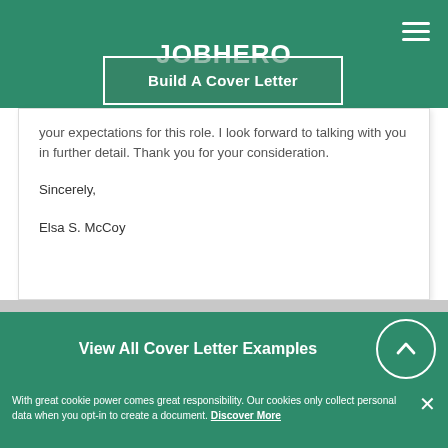JOBHERO
Build A Cover Letter
your expectations for this role. I look forward to talking with you in further detail. Thank you for your consideration.

Sincerely,

Elsa S. McCoy
View All Cover Letter Examples
With great cookie power comes great responsibility. Our cookies only collect personal data when you opt-in to create a document. Discover More